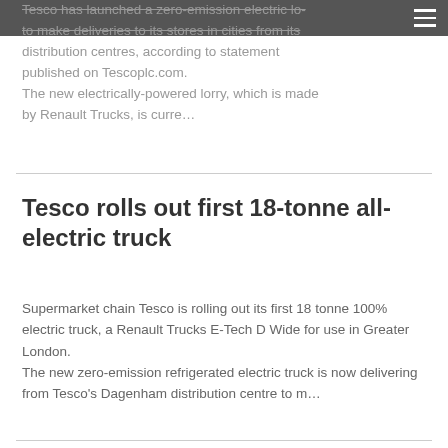Tesco has launched a zero-emission electric lo… to make deliveries to its stores in cities from its distribution centres, according to statement published on Tescoplc.com.
The new electrically-powered lorry, which is made by Renault Trucks, is curre…
Tesco rolls out first 18-tonne all-electric truck
Supermarket chain Tesco is rolling out its first 18 tonne 100% electric truck, a Renault Trucks E-Tech D Wide for use in Greater London.
The new zero-emission refrigerated electric truck is now delivering from Tesco's Dagenham distribution centre to m…